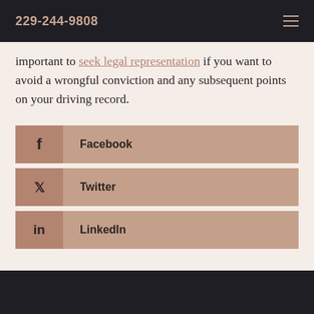229-244-9808
important to seek legal representation if you want to avoid a wrongful conviction and any subsequent points on your driving record.
Facebook
Twitter
LinkedIn